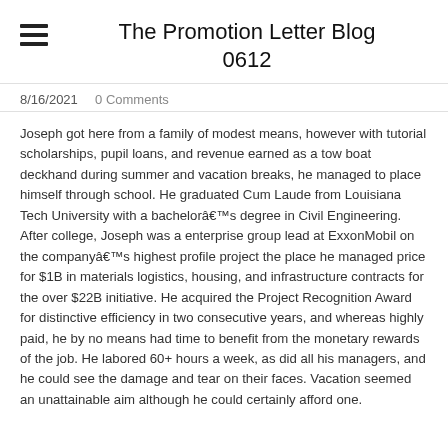The Promotion Letter Blog 0612
8/16/2021  0 Comments
Joseph got here from a family of modest means, however with tutorial scholarships, pupil loans, and revenue earned as a tow boat deckhand during summer and vacation breaks, he managed to place himself through school. He graduated Cum Laude from Louisiana Tech University with a bachelorâ€™s degree in Civil Engineering. After college, Joseph was a enterprise group lead at ExxonMobil on the companyâ€™s highest profile project the place he managed price for $1B in materials logistics, housing, and infrastructure contracts for the over $22B initiative. He acquired the Project Recognition Award for distinctive efficiency in two consecutive years, and whereas highly paid, he by no means had time to benefit from the monetary rewards of the job. He labored 60+ hours a week, as did all his managers, and he could see the damage and tear on their faces. Vacation seemed an unattainable aim although he could certainly afford one.